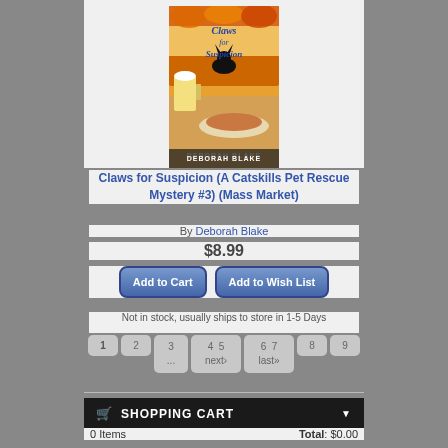[Figure (photo): Book cover of 'Claws for Suspicion' by Deborah Blake, showing a colorful cozy mystery scene with a cat, food and drinks]
Claws for Suspicion (A Catskills Pet Rescue Mystery #3) (Mass Market)
By Deborah Blake
$8.99
Add to Cart
Add to Wish List
Not in stock, usually ships to store in 1-5 Days
1 2 3 ... 4 5 next› 6 7 last» 8 9
SHOPPING CART
0 Items
Total: $0.00